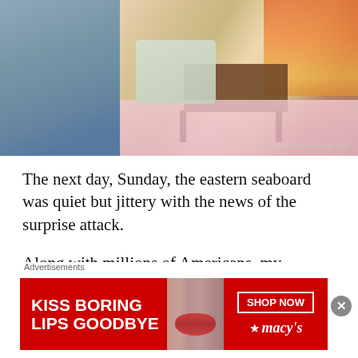[Figure (illustration): Vintage collage illustration showing a man in a grey double-breasted suit in the foreground, with women seated in a living room scene with a fireplace in the background. Watermark reads sallyedelsteincollage.com]
The next day, Sunday, the eastern seaboard was quiet but jittery with the news of the surprise attack.
Along with millions of Americans, my mother first learned of the attack when her father turned on the big mahogany RCA Radio to hear his favorite CBS broadcast of the NY
[Figure (advertisement): Macy's advertisement with red background, text reading KISS BORING LIPS GOODBYE, a woman's face showing red lips, and a SHOP NOW button with Macy's star logo]